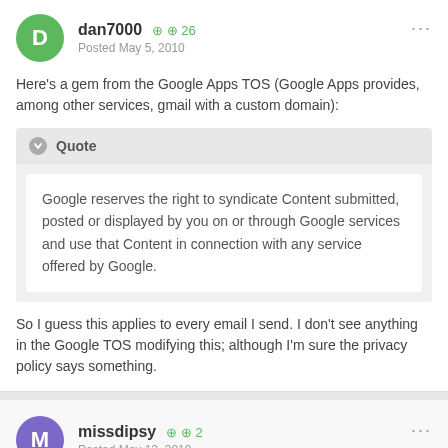dan7000 +26 Posted May 5, 2010
Here's a gem from the Google Apps TOS (Google Apps provides, among other services, gmail with a custom domain):
Quote: Google reserves the right to syndicate Content submitted, posted or displayed by you on or through Google services and use that Content in connection with any service offered by Google.
So I guess this applies to every email I send. I don't see anything in the Google TOS modifying this; although I'm sure the privacy policy says something.
missdipsy +2 Posted May 12, 2010